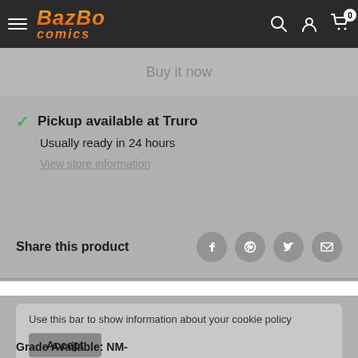Bazbo Comics - Navigation bar with hamburger menu, logo, search, account, and cart icons
Buy it now
✓ Pickup available at Truro
Usually ready in 24 hours
View store information
Share this product
Use this bar to show information about your cookie policy
Accept
Grade Available: NM-